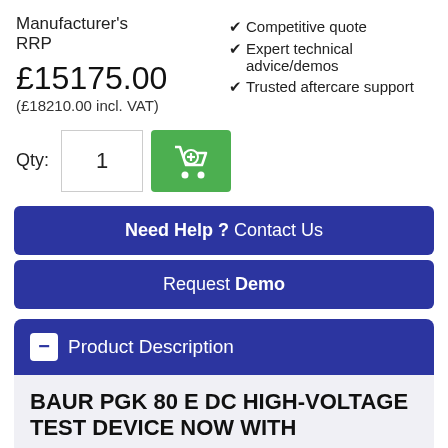Manufacturer's RRP
Competitive quote
Expert technical advice/demos
Trusted aftercare support
£15175.00
(£18210.00 incl. VAT)
Qty: 1
Need Help ? Contact Us
Request Demo
Product Description
BAUR PGK 80 E DC HIGH-VOLTAGE TEST DEVICE NOW WITH